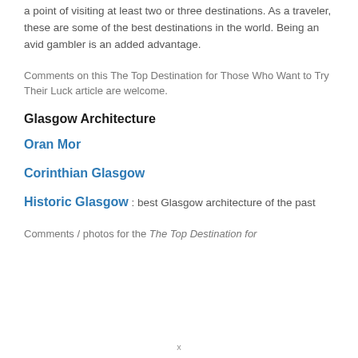a point of visiting at least two or three destinations. As a traveler, these are some of the best destinations in the world. Being an avid gambler is an added advantage.
Comments on this The Top Destination for Those Who Want to Try Their Luck article are welcome.
Glasgow Architecture
Oran Mor
Corinthian Glasgow
Historic Glasgow : best Glasgow architecture of the past
Comments / photos for the The Top Destination for